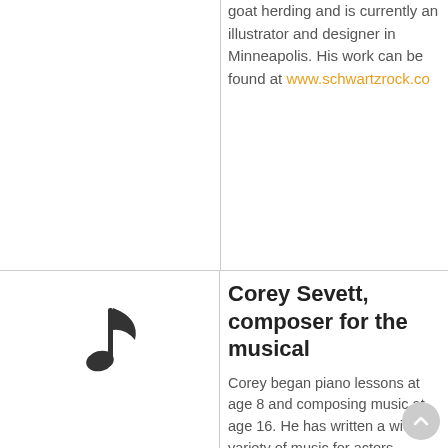goat herding and is currently an illustrator and designer in Minneapolis. His work can be found at www.schwartzrock.co
[Figure (illustration): Musical note icon (eighth note) in dark color]
Corey Sevett, composer for the musical
Corey began piano lessons at age 8 and composing music at age 16. He has written a wide variety of music for actors, dancers, musicians and especially listeners. He currently teaches piano lessons and composes from his